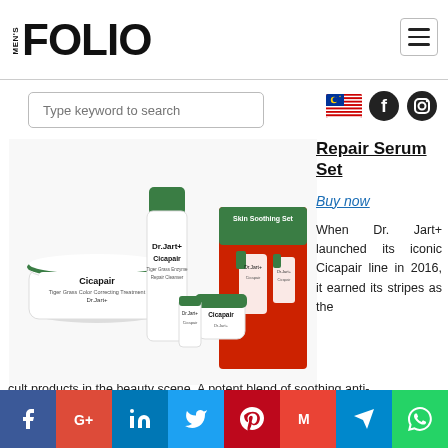MEN'S FOLIO
Type keyword to search
[Figure (photo): Dr. Jart+ Cicapair product set including a jar, tube, and holiday gift box with Skin Soothing Set label]
Repair Serum Set
Buy now
When Dr. Jart+ launched its iconic Cicapair line in 2016, it earned its stripes as the cult products in the beauty scene. A potent blend of soothing anti-
Social sharing buttons: Facebook, Google+, LinkedIn, Twitter, Pinterest, Gmail, Telegram, WhatsApp